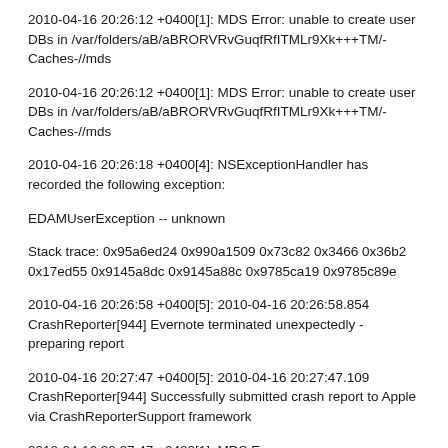2010-04-16 20:26:12 +0400[1]: MDS Error: unable to create user DBs in /var/folders/aB/aBRORVRvGuqfRfITMLr9Xk+++TM/-Caches-//mds
2010-04-16 20:26:12 +0400[1]: MDS Error: unable to create user DBs in /var/folders/aB/aBRORVRvGuqfRfITMLr9Xk+++TM/-Caches-//mds
2010-04-16 20:26:18 +0400[4]: NSExceptionHandler has recorded the following exception:
EDAMUserException -- unknown
Stack trace: 0x95a6ed24 0x990a1509 0x73c82 0x3466 0x36b2 0x17ed55 0x9145a8dc 0x9145a88c 0x9785ca19 0x9785c89e
2010-04-16 20:26:58 +0400[5]: 2010-04-16 20:26:58.854 CrashReporter[944] Evernote terminated unexpectedly - preparing report
2010-04-16 20:27:47 +0400[5]: 2010-04-16 20:27:47.109 CrashReporter[944] Successfully submitted crash report to Apple via CrashReporterSupport framework
2010-04-16 20:27:47 +0400[1]: MDS Error: unable to create user DB...